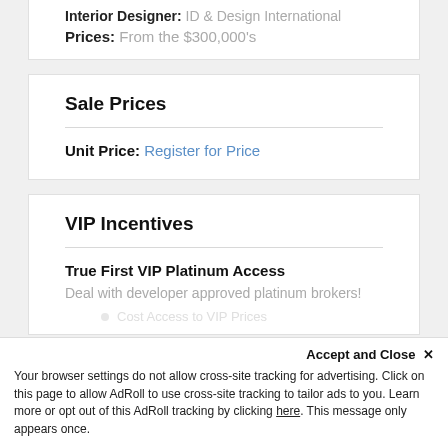Interior Designer: ID & Design International
Prices: From the $300,000's
Sale Prices
Unit Price: Register for Price
VIP Incentives
True First VIP Platinum Access
Deal with developer approved platinum brokers!
Accept and Close ✕
Your browser settings do not allow cross-site tracking for advertising. Click on this page to allow AdRoll to use cross-site tracking to tailor ads to you. Learn more or opt out of this AdRoll tracking by clicking here. This message only appears once.